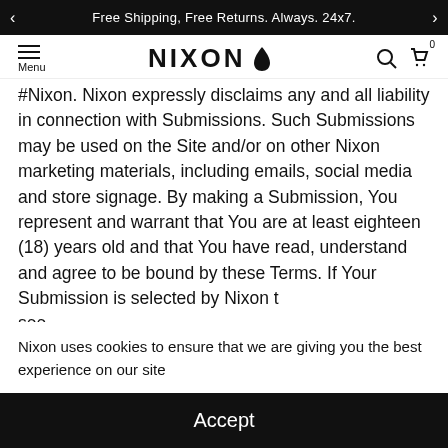Free Shipping, Free Returns. Always. 24x7.
[Figure (logo): Nixon brand logo with flame icon, navigation menu icon, search and cart icons]
#Nixon. Nixon expressly disclaims any and all liability in connection with Submissions. Such Submissions may be used on the Site and/or on other Nixon marketing materials, including emails, social media and store signage. By making a Submission, You represent and warrant that You are at least eighteen (18) years old and that You have read, understand and agree to be bound by these Terms. If Your Submission is selected by Nixon t... see, t... n, - on (such a... dge and a... , feature c... sole discretion.
Nixon uses cookies to ensure that we are giving you the best experience on our site
Accept